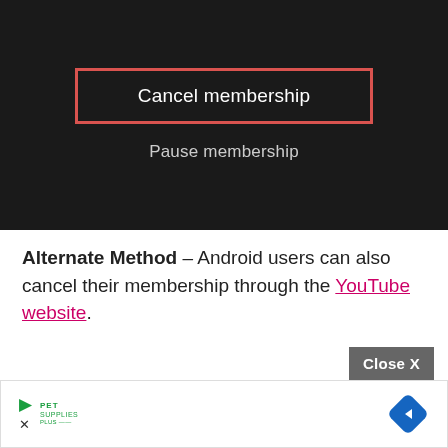[Figure (screenshot): Dark-themed mobile app screen showing two menu options: 'Cancel membership' (highlighted with a red border) and 'Pause membership' on a dark background.]
Alternate Method – Android users can also cancel their membership through the YouTube website.
[Figure (screenshot): Advertisement banner at the bottom with a 'Close X' button, Pet Supplies Plus logo with play triangle icon, and a blue navigation diamond icon.]